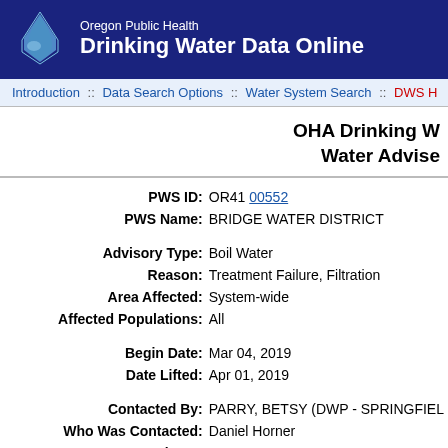Oregon Public Health Drinking Water Data Online
Introduction :: Data Search Options :: Water System Search :: DWS H
OHA Drinking W Water Advise
| PWS ID: | OR41 00552 |
| PWS Name: | BRIDGE WATER DISTRICT |
| Advisory Type: | Boil Water |
| Reason: | Treatment Failure, Filtration |
| Area Affected: | System-wide |
| Affected Populations: | All |
| Begin Date: | Mar 04, 2019 |
| Date Lifted: | Apr 01, 2019 |
| Contacted By: | PARRY, BETSY (DWP - SPRINGFIEL |
| Who Was Contacted: | Daniel Horner |
| Contact Phone: | 541-290-9661 |
| Details: | The District is on a timeline to install f heavy rainfall, their turbidity levels ma advisory. There was a large storm eve |